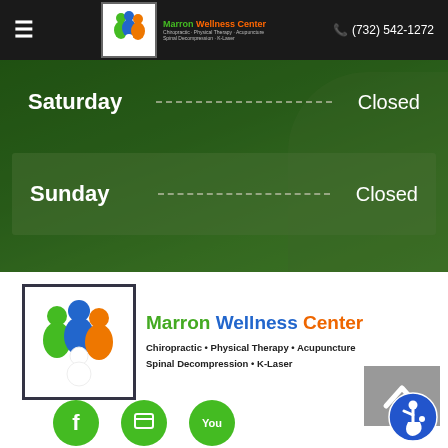≡  Marron Wellness Center — Chiropractic · Physical Therapy · Acupuncture · Spinal Decompression · K-Laser  |  ☎ (732) 542-1272
Saturday  -----------------------------------------------  Closed
Sunday  -----------------------------------------------  Closed
[Figure (logo): Marron Wellness Center logo with three colorful people figures (green, blue, orange) and text: Marron Wellness Center, Chiropractic • Physical Therapy • Acupuncture, Spinal Decompression • K-Laser]
[Figure (other): Scroll-to-top button (grey chevron/arrow pointing up)]
[Figure (other): Accessibility icon — blue circle with wheelchair user symbol]
[Figure (other): Three green social media icon circles at bottom (Facebook, another, YouTube)]